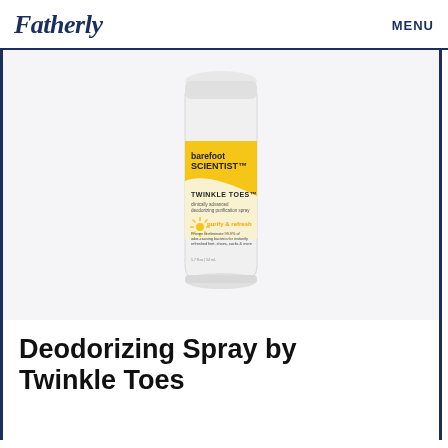Fatherly    MENU
[Figure (photo): Barefoot Scientist Twinkle Toes deodorizing purification spray bottle — white aerosol can with yellow label showing brand name, product name, sunburst icon, 'purify & refresh' text]
Deodorizing Spray by Twinkle Toes